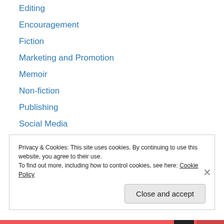Editing
Encouragement
Fiction
Marketing and Promotion
Memoir
Non-fiction
Publishing
Social Media
WordServe News
Writer's Life
Writing
Writing Craft
Privacy & Cookies: This site uses cookies. By continuing to use this website, you agree to their use. To find out more, including how to control cookies, see here: Cookie Policy
Close and accept